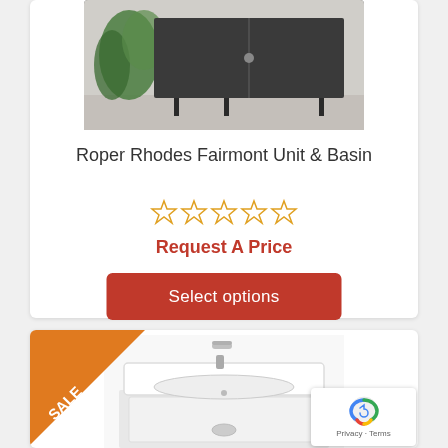[Figure (photo): Dark cabinet/vanity unit with metal legs against a light background with a plant]
Roper Rhodes Fairmont Unit & Basin
[Figure (other): Five empty star rating icons in yellow/orange outline]
Request A Price
Select options
[Figure (photo): White bathroom vanity unit and basin with a chrome faucet, with SALE banner in corner]
[Figure (other): reCAPTCHA Privacy - Terms badge]